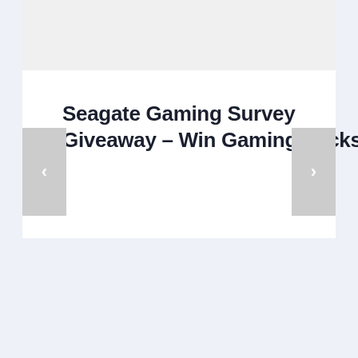[Figure (screenshot): Top grey panel area of a webpage screenshot]
Seagate Gaming Survey Giveaway – Win Gaming Packs